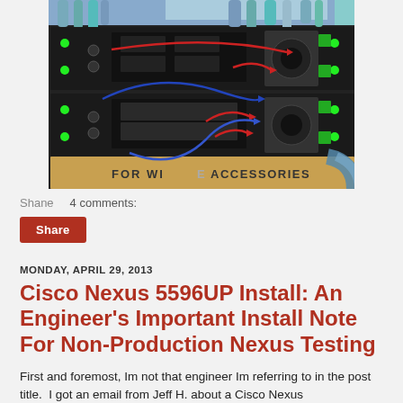[Figure (photo): Photo of Cisco Nexus network switch rack unit with blue and red cable annotations drawn on top (arrows indicating cable routing). A cardboard box labeled 'FOR WIT... ACCESSORIES' is visible at the bottom.]
Shane    4 comments:
Share
MONDAY, APRIL 29, 2013
Cisco Nexus 5596UP Install: An Engineer's Important Install Note For Non-Production Nexus Testing
First and foremost, Im not that engineer Im referring to in the post title.  I got an email from Jeff H. about a Cisco Nexus